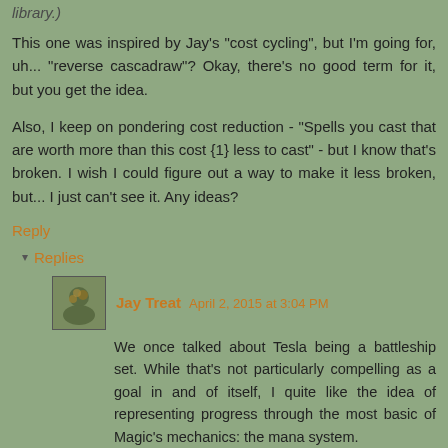library.)
This one was inspired by Jay's "cost cycling", but I'm going for, uh... "reverse cascadraw"? Okay, there's no good term for it, but you get the idea.
Also, I keep on pondering cost reduction - "Spells you cast that are worth more than this cost {1} less to cast" - but I know that's broken. I wish I could figure out a way to make it less broken, but... I just can't see it. Any ideas?
Reply
Replies
Jay Treat April 2, 2015 at 3:04 PM
We once talked about Tesla being a battleship set. While that's not particularly compelling as a goal in and of itself, I quite like the idea of representing progress through the most basic of Magic's mechanics: the mana system.
The rewards are big, expensive spells. The